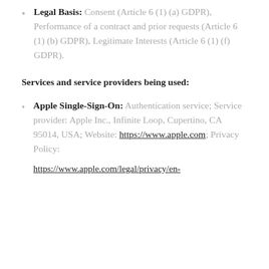Legal Basis: Consent (Article 6 (1) (a) GDPR), Performance of a contract and prior requests (Article 6 (1) (b) GDPR), Legitimate Interests (Article 6 (1) (f) GDPR).
Services and service providers being used:
Apple Single-Sign-On: Authentication service; Service provider: Apple Inc., Infinite Loop, Cupertino, CA 95014, USA; Website: https://www.apple.com; Privacy Policy: https://www.apple.com/legal/privacy/en-